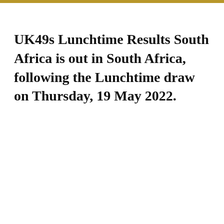UK49s Lunchtime Results South Africa is out in South Africa, following the Lunchtime draw on Thursday, 19 May 2022.